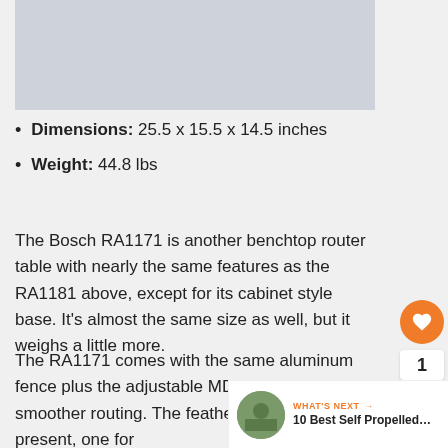[Figure (photo): Product image placeholder — light blue-gray rectangle]
Dimensions: 25.5 x 15.5 x 14.5 inches
Weight: 44.8 lbs
The Bosch RA1171 is another benchtop router table with nearly the same features as the RA1181 above, except for its cabinet style base. It's almost the same size as well, but it weighs a little more.
The RA1171 comes with the same aluminum fence plus the adjustable MDF face plates for smoother routing. The feather-boards are also present, one for